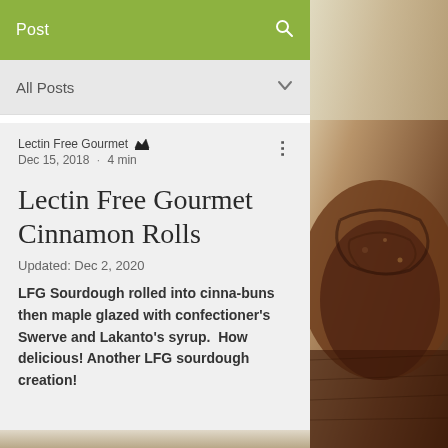Post
All Posts
Lectin Free Gourmet
Dec 15, 2018 · 4 min
Lectin Free Gourmet Cinnamon Rolls
Updated: Dec 2, 2020
LFG Sourdough rolled into cinna-buns then maple glazed with confectioner's Swerve and Lakanto's syrup.  How delicious!  Another LFG sourdough creation!
[Figure (photo): Close-up photo of cinnamon rolls with a rustic, dark brown baked appearance on the right side of the page]